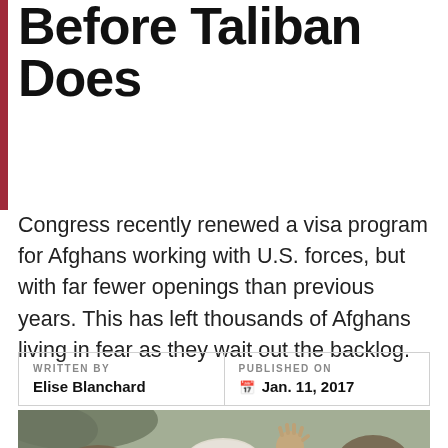Before Taliban Does
Congress recently renewed a visa program for Afghans working with U.S. forces, but with far fewer openings than previous years. This has left thousands of Afghans living in fear as they wait out the backlog.
| WRITTEN BY | PUBLISHED ON |
| --- | --- |
| Elise Blanchard | Jan. 11, 2017 |
[Figure (photo): Outdoor photograph of an elderly man in a white turban and glasses with his hand raised, surrounded by people in earthy-toned clothing, against a muted outdoor background.]